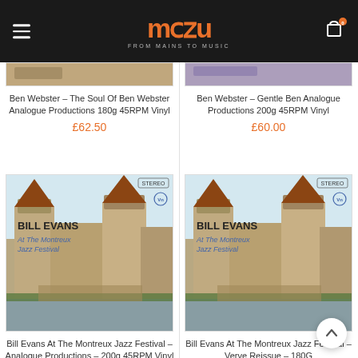MCU FROM MAINS TO MUSIC
[Figure (photo): Partial album cover top of Ben Webster - The Soul Of Ben Webster]
Ben Webster – The Soul Of Ben Webster Analogue Productions 180g 45RPM Vinyl
£62.50
[Figure (photo): Partial album cover top of Ben Webster - Gentle Ben Analogue Productions]
Ben Webster – Gentle Ben Analogue Productions 200g 45RPM Vinyl
£60.00
[Figure (photo): Bill Evans At The Montreux Jazz Festival album cover showing Chillon Castle]
Bill Evans At The Montreux Jazz Festival – Analogue Productions – 200g 45RPM Vinyl
£62.50
[Figure (photo): Bill Evans At The Montreux Jazz Festival album cover showing Chillon Castle (Verve Reissue)]
Bill Evans At The Montreux Jazz Festival – Verve Reissue – 180G
£41.63